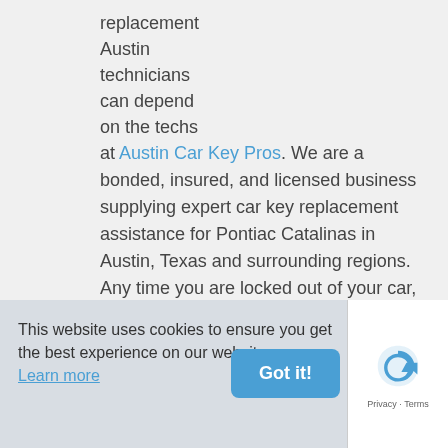replacement
Austin
technicians
can depend
on the techs
at Austin Car Key Pros. We are a bonded, insured, and licensed business supplying expert car key replacement assistance for Pontiac Catalinas in Austin, Texas and surrounding regions. Any time you are locked out of your car, don't panic! Call our car locksmith experts! Since we're located in Austin, TX, we guarantee a response time of 30 minutes or less.
To put it briefly, we provide full car key duplication
This website uses cookies to ensure you get the best experience on our website. Learn more